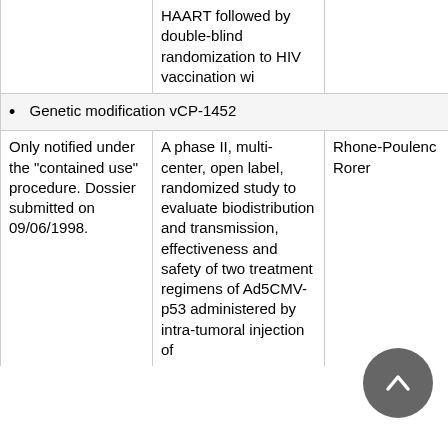|  | HAART followed by double-blind randomization to HIV vaccination wi |  |  |
| Genetic modification vCP-1452 |  |  |  |
| Only notified under the "contained use" procedure. Dossier submitted on 09/06/1998. | A phase II, multi-center, open label, randomized study to evaluate biodistribution and transmission, effectiveness and safety of two treatment regimens of Ad5CMV-p53 administered by intra-tumoral injection of ... | Rhone-Poulenc Rorer | Humans |